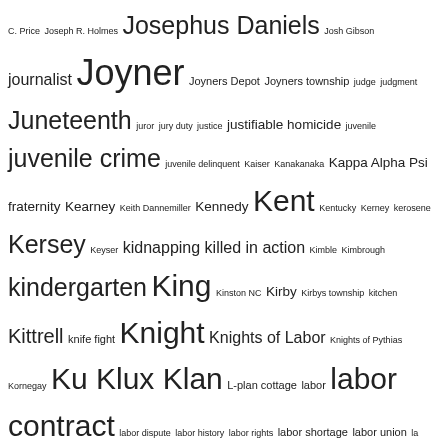C. Price Joseph R. Holmes Josephus Daniels Josh Gibson journalist Joyner Joyners Depot Joyners township judge judgment Juneteenth juror jury duty justice justifiable homicide juvenile juvenile crime juvenile delinquent Kaiser Kanakanaka Kappa Alpha Psi fraternity Kearney Keith Dannemiller Kennedy Kent Kentucky Kerney kerosene Kersey Keyser kidnapping killed in action Kimble Kimbrough kindergarten King Kinston NC Kirby Kirbys township kitchen Kittrell knife fight Knight Knights of Labor Knights of Pythias Kornegay Ku Klux Klan L-plan cottage labor labor contract labor dispute labor history labor rights labor shortage labor union la grippe Lamm Lancaster Land land dispute land division landlord land ownership land purchase landscape landscaping Lane Lane Street Lane Street Project Langley Langston Hughes language larceny Lash Lassiter last will and testament Latham Lathan laundress laundry law enforcement laws concerning slaves lawsuit lawyer Leach leaf house Leak leased slaves lecture Lee legacy Legacy Museum legal notice Leggett